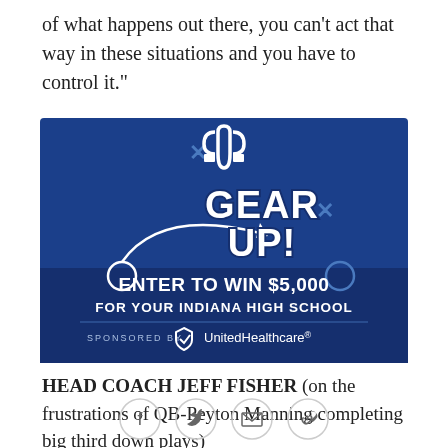of what happens out there, you can't act that way in these situations and you have to control it."
[Figure (illustration): Advertisement for Indianapolis Colts 'Gear Up!' promotion sponsored by UnitedHealthcare. Blue background with Colts horseshoe logo, football play diagram with arrow, bold text 'GEAR UP!' and 'ENTER TO WIN $5,000 FOR YOUR INDIANA HIGH SCHOOL'. Sponsored by UnitedHealthcare logo.]
HEAD COACH JEFF FISHER (on the frustrations of QB-Peyton Manning completing big third down plays)
[Figure (other): Social media sharing icons: Facebook, Twitter, email, and link/chain icon]